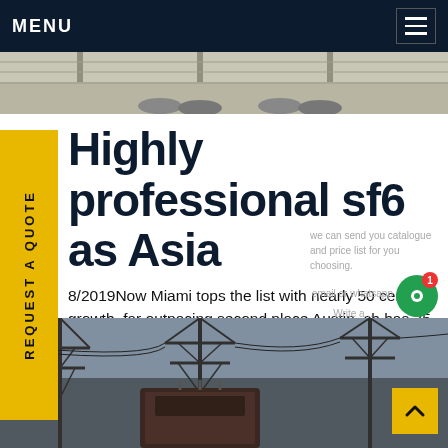MENU
[Figure (photo): Top photo strip showing a walkway or rooftop surface with feet/shoes visible, industrial setting]
Highly professional sf6 as Asia
8/2019Now Miami tops the list with nearly 50 cent growth, far outpacing second place Austin, ch has 35 percent growth. Fort Worth is next, 30-plus percent growth. And the remainder of topGet price
[Figure (photo): Bottom photo showing electrical transmission towers/pylons with power lines and transformer equipment]